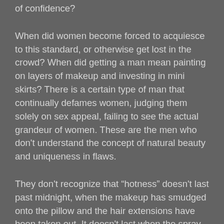of confidence?
When did women become forced to acquiesce to this standard, or otherwise get lost in the crowd? When did getting a man mean painting on layers of makeup and investing in mini skirts? There is a certain type of man that continually defames women, judging them solely on sex appeal, failing to see the actual grandeur of women. These are the men who don't understand the concept of natural beauty and uniqueness in flaws.
They don't recognize that “hotness” doesn't last past midnight, when the makeup has smudged onto the pillow and the hair extensions have been taken out. It doesn't last when the spray tans have washed away and the tight dresses have come off.